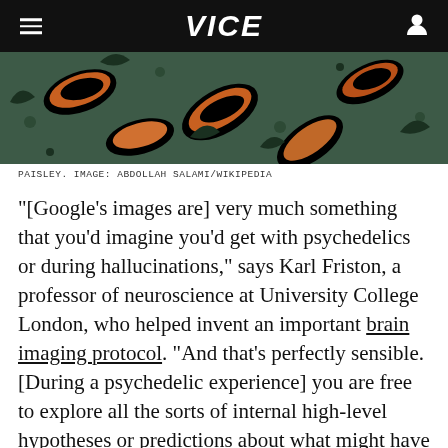VICE
[Figure (photo): Close-up photograph of paisley fabric pattern with orange, dark green, and black colors on a teal background]
PAISLEY. IMAGE: ABDOLLAH SALAMI/WIKIPEDIA
"[Google's images are] very much something that you'd imagine you'd get with psychedelics or during hallucinations," says Karl Friston, a professor of neuroscience at University College London, who helped invent an important brain imaging protocol. "And that's perfectly sensible. [During a psychedelic experience] you are free to explore all the sorts of internal high-level hypotheses or predictions about what might have caused sensory input." He adds, "[This